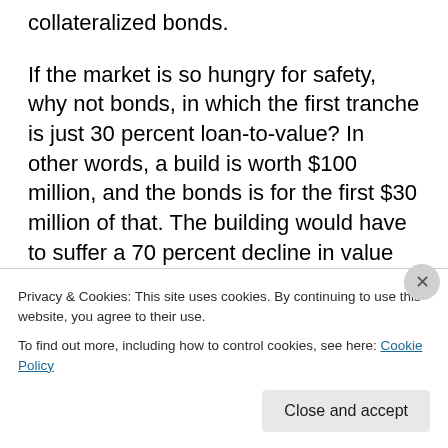collateralized bonds.
If the market is so hungry for safety, why not bonds, in which the first tranche is just 30 percent loan-to-value? In other words, a build is worth $100 million, and the bonds is for the first $30 million of that. The building would have to suffer a 70 percent decline in value for the bond holder to lose money.
The didn't happen even in this last dump, the worst since the 1930s.
Privacy & Cookies: This site uses cookies. By continuing to use this website, you agree to their use.
To find out more, including how to control cookies, see here: Cookie Policy